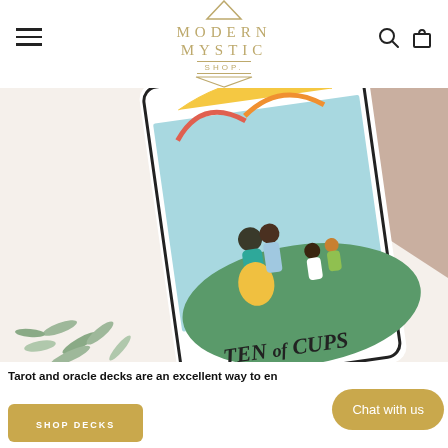MODERN MYSTIC SHOP
[Figure (photo): Close-up photo of a tarot card 'Ten of Cups' from a modern illustrated deck, showing figures celebrating outdoors, with sage/succulent leaves in the foreground on a white surface]
Tarot and oracle decks are an excellent way to en...
SHOP DECKS
Chat with us